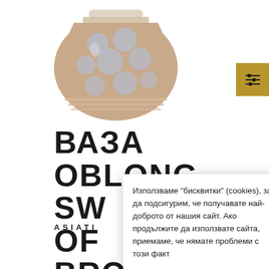[Figure (photo): Ceramic vase with blue circular dot pattern on a beige/pink background, squat cylindrical shape with lid]
ВАЗА OBLONG SW OF BRO
ASIATI
Използваме "бисквитки" (cookies), за да подсигурим, че получавате най-доброто от нашия сайт. Ако продължите да използвате сайта, приемаме, че нямате проблеми с този факт
Научи повече
Приемам